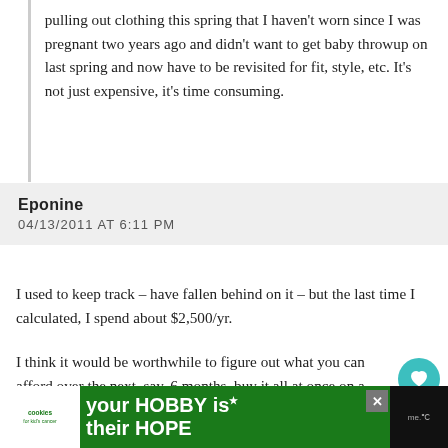pulling out clothing this spring that I haven't worn since I was pregnant two years ago and didn't want to get baby throwup on last spring and now have to be revisited for fit, style, etc. It's not just expensive, it's time consuming.
Eponine
04/13/2011 AT 6:11 PM
I used to keep track – have fallen behind on it – but the last time I calculated, I spend about $2,500/yr.
I think it would be worthwhile to figure out what you can afford over the next, say, 6 months, buy it all at once on a credit card, and make payments (accounting for the interest) calculated to pay it off in 6 months. You shouldn't be going to work wearing ill-fitting clothing; it looks unprofessional
[Figure (screenshot): Advertisement banner at bottom: Cookies for Kid's Cancer logo on left, text 'your HOBBY is their HOPE' in white on green background, close button]